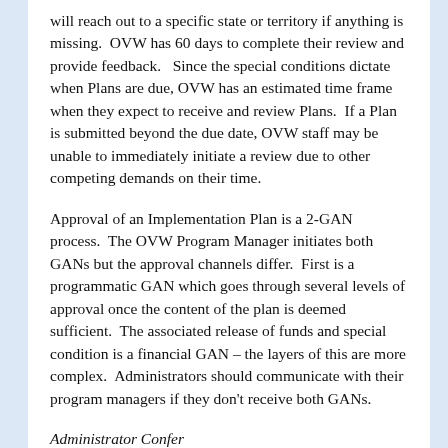will reach out to a specific state or territory if anything is missing.  OVW has 60 days to complete their review and provide feedback.   Since the special conditions dictate when Plans are due, OVW has an estimated time frame when they expect to receive and review Plans.  If a Plan is submitted beyond the due date, OVW staff may be unable to immediately initiate a review due to other competing demands on their time.
Approval of an Implementation Plan is a 2-GAN process.  The OVW Program Manager initiates both GANs but the approval channels differ.  First is a programmatic GAN which goes through several levels of approval once the content of the plan is deemed sufficient.  The associated release of funds and special condition is a financial GAN – the layers of this are more complex.  Administrators should communicate with their program managers if they don't receive both GANs.
Administrator Confer...